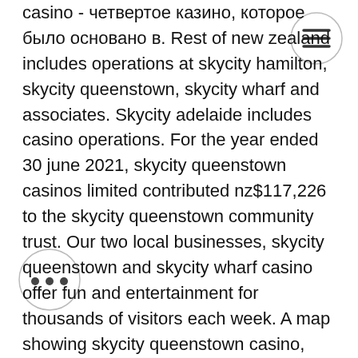casino - четвертое казино, которое было основано в. Rest of new zealand includes operations at skycity hamilton, skycity queenstown, skycity wharf and associates. Skycity adelaide includes casino operations. For the year ended 30 june 2021, skycity queenstown casinos limited contributed nz$117,226 to the skycity queenstown community trust. Our two local businesses, skycity queenstown and skycity wharf casino offer fun and entertainment for thousands of visitors each week. A map showing skycity queenstown casino, located in queenstown at 16 - 24 beach street, in south island, new zealand. Explore the skycity queenstown casino when you travel to queenstown city centre - expedia's skycity queenstown casino information guide keeps you in the. Auckland only has one casino, run by skycity entertainment group. The casino is the heart of the skycity entertainment complex. Find best hotels near skycity queenstown